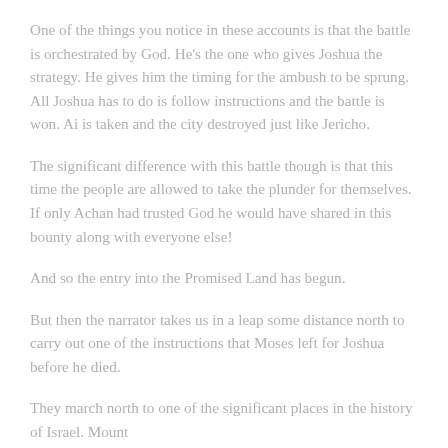One of the things you notice in these accounts is that the battle is orchestrated by God. He's the one who gives Joshua the strategy. He gives him the timing for the ambush to be sprung. All Joshua has to do is follow instructions and the battle is won. Ai is taken and the city destroyed just like Jericho.
The significant difference with this battle though is that this time the people are allowed to take the plunder for themselves. If only Achan had trusted God he would have shared in this bounty along with everyone else!
And so the entry into the Promised Land has begun.
But then the narrator takes us in a leap some distance north to carry out one of the instructions that Moses left for Joshua before he died.
They march north to one of the significant places in the history of Israel. Mount Gerizim and mount are in the site of...